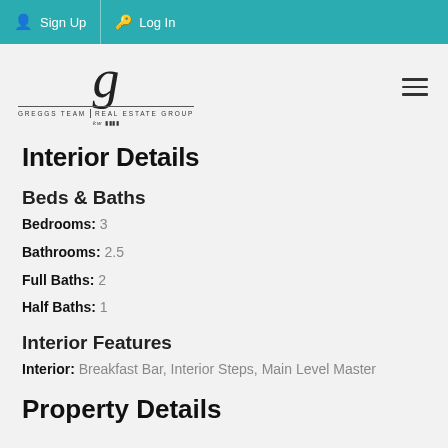Sign Up  Log In
[Figure (logo): Greggs Team Real Estate Group logo with stylized G and kw branding]
Interior Details
Beds & Baths
Bedrooms:  3
Bathrooms:  2.5
Full Baths:  2
Half Baths:  1
Interior Features
Interior:  Breakfast Bar, Interior Steps, Main Level Master
Property Details